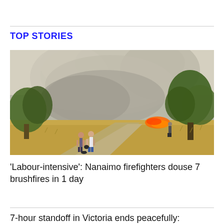TOP STORIES
[Figure (photo): A wildfire scene showing large clouds of smoke and visible flames on a dirt road, with people standing watching and trees in the background under a bright hazy sky.]
'Labour-intensive': Nanaimo firefighters douse 7 brushfires in 1 day
7-hour standoff in Victoria ends peacefully: